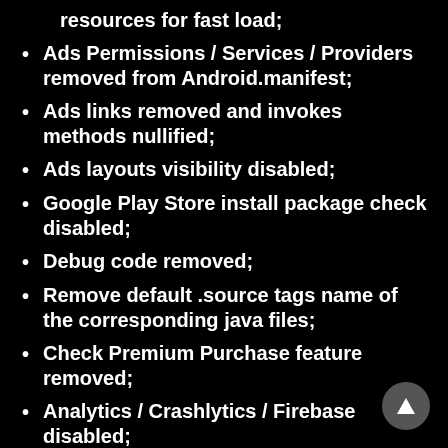resources for fast load;
Ads Permissions / Services / Providers removed from Android.manifest;
Ads links removed and invokes methods nullified;
Ads layouts visibility disabled;
Google Play Store install package check disabled;
Debug code removed;
Remove default .source tags name of the corresponding java files;
Check Premium Purchase feature removed;
Analytics / Crashlytics / Firebase disabled;
Facebook ads bundled SDK removed completely;
No active trackers or advertisements – offline mode;